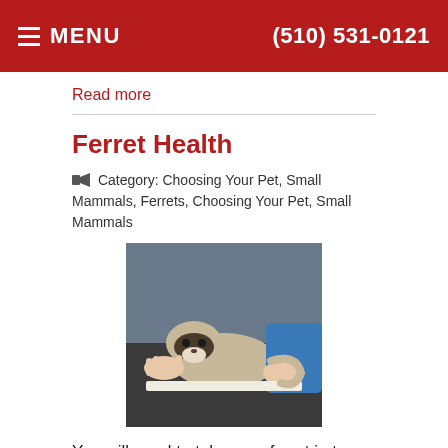MENU  (510) 531-0121
Read more
Ferret Health
Category: Choosing Your Pet, Small Mammals, Ferrets, Choosing Your Pet, Small Mammals
[Figure (photo): A ferret being held and examined, likely at a veterinary clinic.]
You will need to take your ferret in to your veterinarian twice a year for a medical checkup and yearly vaccinations. Ferrets require yearly inoculations against canine distemper. They are highly susceptible to canine distemper and it is